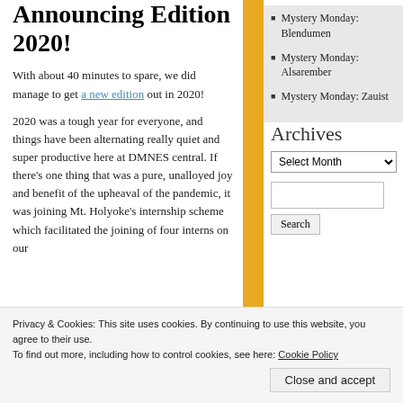Announcing Edition 2020!
With about 40 minutes to spare, we did manage to get a new edition out in 2020!
2020 was a tough year for everyone, and things have been alternating really quiet and super productive here at DMNES central. If there's one thing that was a pure, unalloyed joy and benefit of the upheaval of the pandemic, it was joining Mt. Holyoke's internship scheme which facilitated the joining of four interns on our
Mystery Monday: Blendumen
Mystery Monday: Alsarember
Mystery Monday: Zauist
Archives
Privacy & Cookies: This site uses cookies. By continuing to use this website, you agree to their use.
To find out more, including how to control cookies, see here: Cookie Policy
Close and accept